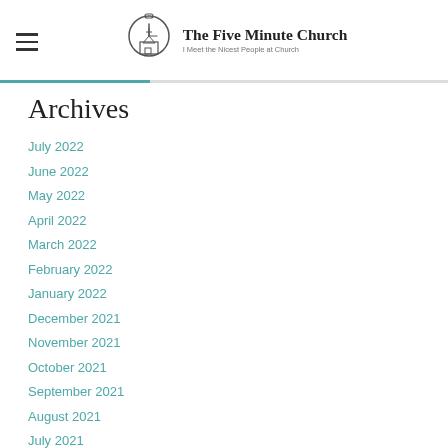The Five Minute Church — I Meet the Nicest People at Church
Archives
July 2022
June 2022
May 2022
April 2022
March 2022
February 2022
January 2022
December 2021
November 2021
October 2021
September 2021
August 2021
July 2021
June 2021
May 2021